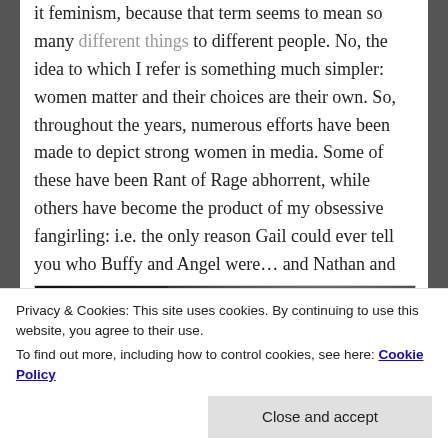…focus on female empowerment. I don't want to call it feminism, because that term seems to mean so many different things to different people. No, the idea to which I refer is something much simpler: women matter and their choices are their own. So, throughout the years, numerous efforts have been made to depict strong women in media. Some of these have been Rant of Rage abhorrent, while others have become the product of my obsessive fangirling: i.e. the only reason Gail could ever tell you who Buffy and Angel were… and Nathan and Haley… and Jamie and Claire…
[Figure (photo): Dark moody close-up photo of a person's face, partially shadowed, high contrast black and white style]
Privacy & Cookies: This site uses cookies. By continuing to use this website, you agree to their use.
To find out more, including how to control cookies, see here: Cookie Policy